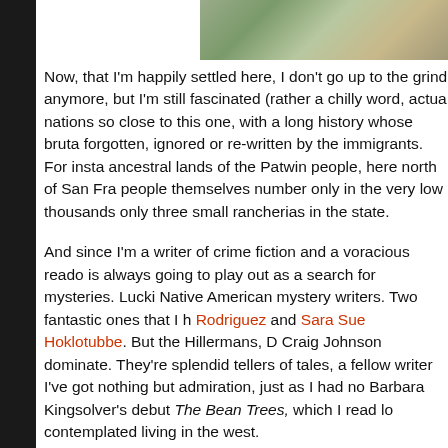[Figure (photo): Partial photo visible at top right of page, appears to show a person outdoors with foliage in background.]
Now, that I'm happily settled here, I don't go up to the grind anymore, but I'm still fascinated (rather a chilly word, actua nations so close to this one, with a long history whose bruta forgotten, ignored or re-written by the immigrants. For insta ancestral lands of the Patwin people, here north of San Fra people themselves number only in the very low thousands only three small rancherias in the state.
And since I'm a writer of crime fiction and a voracious reado is always going to play out as a search for mysteries. Lucki Native American mystery writers. Two fantastic ones that I h Rodriguez and Sara Sue Hoklotubbe. But the Hillermans, D Craig Johnson dominate. They're splendid tellers of tales, a fellow writer I've got nothing but admiration, just as I had no Barbara Kingsolver's debut The Bean Trees, which I read lo contemplated living in the west.
But then there's publishing. I know from working on the Sin